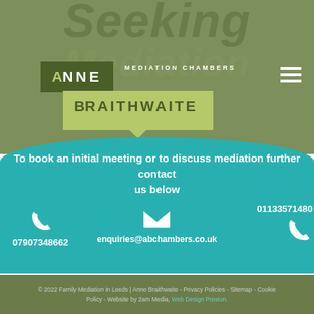[Figure (logo): Anne Braithwaite Mediation Chambers logo with speech bubble design on olive/green background with 'Seeking Mediation' watermark text]
To book an initial meeting or to discuss mediation further contact us below
07907348662
enquiries@abchambers.co.uk
01133571480
© 2022 Family Mediation in Leeds | Anne Braithwaite - Privacy Policies - Sitemap - Cookie Policy - Website by 2am Media, Web Design Preston.